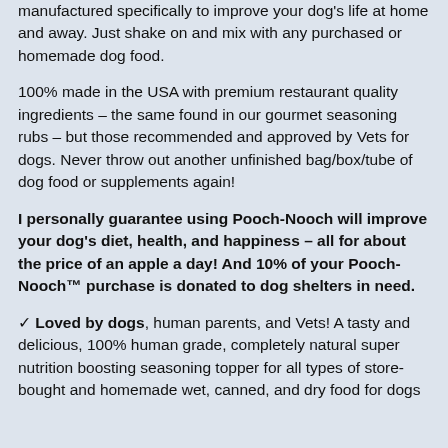manufactured specifically to improve your dog's life at home and away. Just shake on and mix with any purchased or homemade dog food.
100% made in the USA with premium restaurant quality ingredients – the same found in our gourmet seasoning rubs – but those recommended and approved by Vets for dogs. Never throw out another unfinished bag/box/tube of dog food or supplements again!
I personally guarantee using Pooch-Nooch will improve your dog's diet, health, and happiness – all for about the price of an apple a day! And 10% of your Pooch-Nooch™ purchase is donated to dog shelters in need.
✓ Loved by dogs, human parents, and Vets! A tasty and delicious, 100% human grade, completely natural super nutrition boosting seasoning topper for all types of store-bought and homemade wet, canned, and dry food for dogs